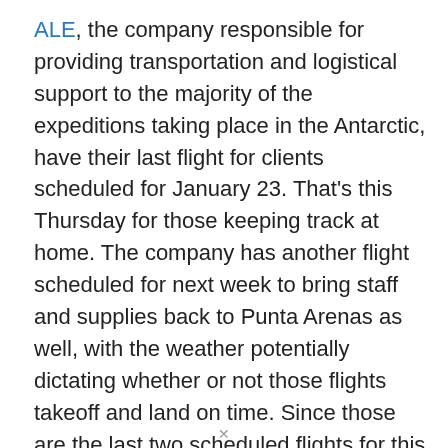ALE, the company responsible for providing transportation and logistical support to the majority of the expeditions taking place in the Antarctic, have their last flight for clients scheduled for January 23. That's this Thursday for those keeping track at home. The company has another flight scheduled for next week to bring staff and supplies back to Punta Arenas as well, with the weather potentially dictating whether or not those flights takeoff and land on time. Since those are the last two scheduled flights for this season, there won't be any more until the 2020-2021 season begins in November of this year.